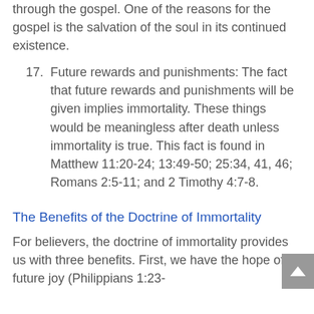through the gospel. One of the reasons for the gospel is the salvation of the soul in its continued existence.
17. Future rewards and punishments: The fact that future rewards and punishments will be given implies immortality. These things would be meaningless after death unless immortality is true. This fact is found in Matthew 11:20-24; 13:49-50; 25:34, 41, 46; Romans 2:5-11; and 2 Timothy 4:7-8.
The Benefits of the Doctrine of Immortality
For believers, the doctrine of immortality provides us with three benefits. First, we have the hope of future joy (Philippians 1:23-